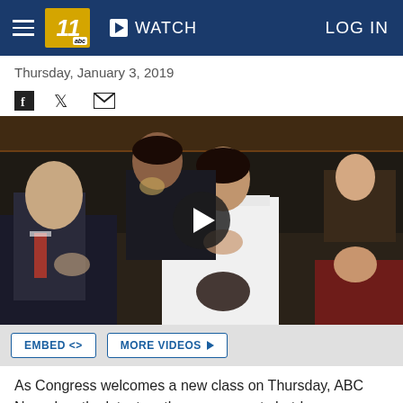WATCH   LOG IN
Thursday, January 3, 2019
[Figure (photo): Photo of Congress members taking oath of office, including a woman in a white suit with her hand on her chest, surrounded by other members and children in the House chamber. A video play button overlay is centered on the image.]
EMBED <>   MORE VIDEOS ▶
As Congress welcomes a new class on Thursday, ABC News has the latest on the government shutdown.